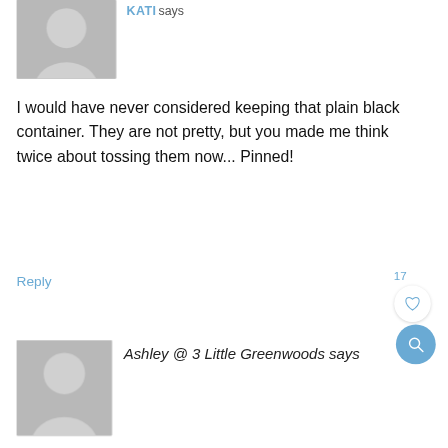[Figure (illustration): Gray placeholder avatar silhouette for user KATI, top-left corner]
KATI says
I would have never considered keeping that plain black container. They are not pretty, but you made me think twice about tossing them now... Pinned!
Reply
17
[Figure (illustration): Gray placeholder avatar silhouette for Ashley @ 3 Little Greenwoods, bottom-left]
Ashley @ 3 Little Greenwoods says